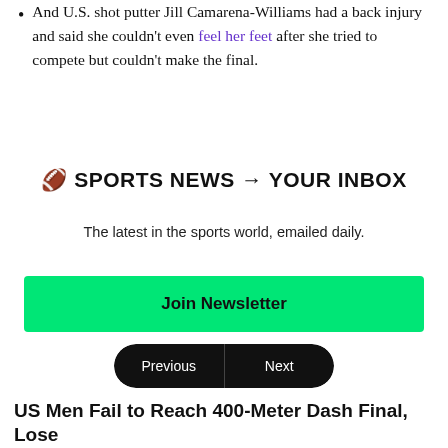And U.S. shot putter Jill Camarena-Williams had a back injury and said she couldn't even feel her feet after she tried to compete but couldn't make the final.
🏈 SPORTS NEWS → YOUR INBOX
The latest in the sports world, emailed daily.
Join Newsletter
Maybe Later
Previous | Next
US Men Fail to Reach 400-Meter Dash Final, Lose